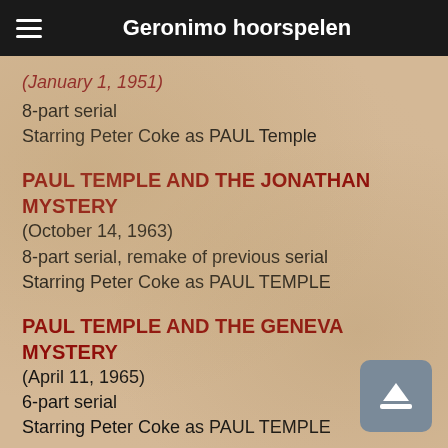Geronimo hoorspelen
(January 1, 1951)
8-part serial
Starring Peter Coke as PAUL Temple
PAUL TEMPLE AND THE JONATHAN MYSTERY
(October 14, 1963)
8-part serial, remake of previous serial
Starring Peter Coke as PAUL TEMPLE
PAUL TEMPLE AND THE GENEVA MYSTERY
(April 11, 1965)
6-part serial
Starring Peter Coke as PAUL TEMPLE
PAUL TEMPLE AND THE ALEX AFFAIR